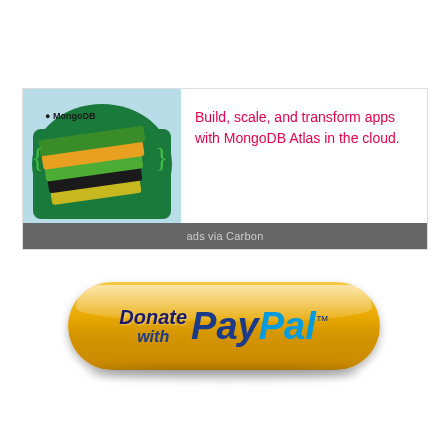[Figure (infographic): MongoDB advertisement box with MongoDB Atlas illustration on the left (stacked colorful layers on green background with MongoDB logo) and red text on the right reading 'Build, scale, and transform apps with MongoDB Atlas in the cloud.' with a dark gray footer bar reading 'ads via Carbon']
[Figure (infographic): PayPal donation button — a large rounded golden/yellow gradient pill-shaped button with white specular highlight, containing italic bold text 'Donate with' in dark navy blue and 'PayPal' logo text in navy/blue with trademark symbol]